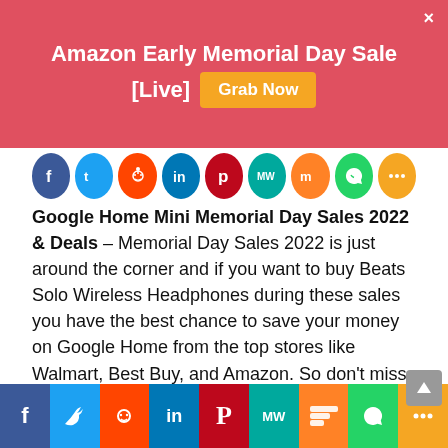Amazon Early Memorial Day Sale [Live] Grab Now
[Figure (infographic): Row of social media share icons: Facebook, Twitter, Reddit, LinkedIn, Pinterest, MeWe, Mix, WhatsApp, More]
Google Home Mini Memorial Day Sales 2022 & Deals – Memorial Day Sales 2022 is just around the corner and if you want to buy Beats Solo Wireless Headphones during these sales you have the best chance to save your money on Google Home from the top stores like Walmart, Best Buy, and Amazon. So don't miss this chance and grab your best deals from here.

During this Memorial Day Sales 2022, you can save up to 40% on this top-selling Google Home Mini from top stores like Walmart, Best Buy, and Amazon. So don't miss this chance and
[Figure (infographic): Bottom social sharing bar with icons for Facebook, Twitter, Reddit, LinkedIn, Pinterest, MeWe, Mix, WhatsApp, More]